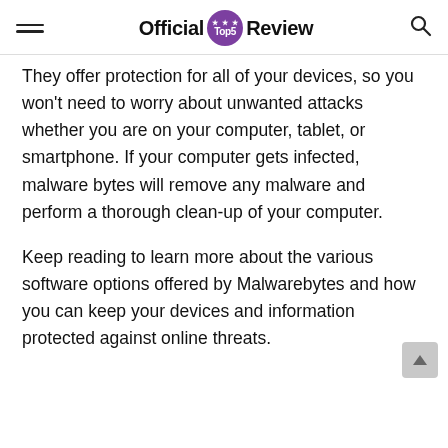Official Top5 Review
They offer protection for all of your devices, so you won't need to worry about unwanted attacks whether you are on your computer, tablet, or smartphone. If your computer gets infected, malware bytes will remove any malware and perform a thorough clean-up of your computer.
Keep reading to learn more about the various software options offered by Malwarebytes and how you can keep your devices and information protected against online threats.